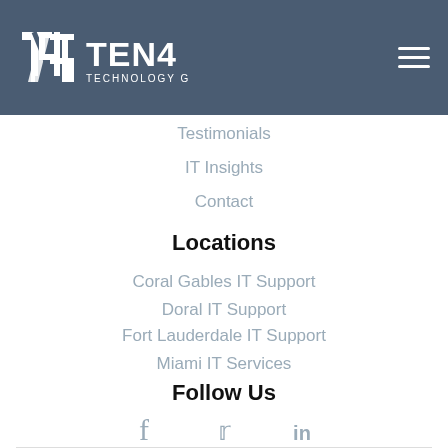TEN4 TECHNOLOGY GROUP
Testimonials
IT Insights
Contact
Locations
Coral Gables IT Support
Doral IT Support
Fort Lauderdale IT Support
Miami IT Services
Follow Us
[Figure (other): Social media icons: Facebook, Twitter, LinkedIn]